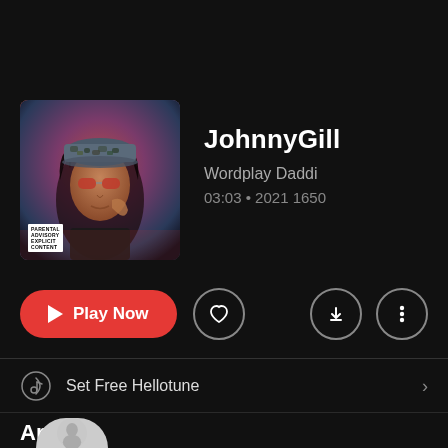[Figure (screenshot): Album art for JohnnyGill showing a person wearing a camouflage cap and sunglasses with curly hair, with an Explicit content advisory badge in the bottom left]
JohnnyGill
Wordplay Daddi
03:03 • 2021 1650
Play Now
Set Free Hellotune
Artists